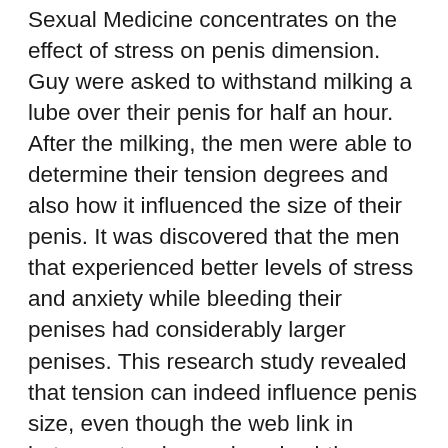Sexual Medicine concentrates on the effect of stress on penis dimension. Guy were asked to withstand milking a lube over their penis for half an hour. After the milking, the men were able to determine their tension degrees and also how it influenced the size of their penis. It was discovered that the men that experienced better levels of stress and anxiety while bleeding their penises had considerably larger penises. This research study revealed that tension can indeed influence penis size, even though the web link in between tension and penis girth was only indirect.
These studies show that there are some cases where a bigger penis can aid you obtain a female to climax quicker. When it